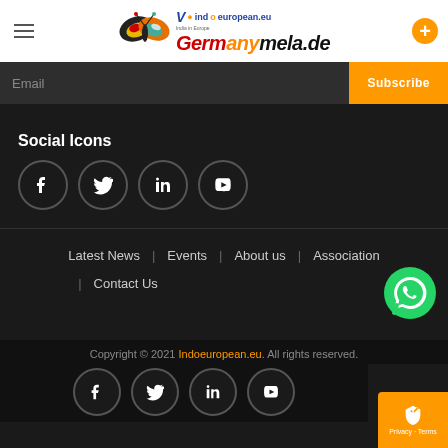Germanymela.de | Indoeuropean.eu
Email | Subscribe
Social Icons
[Figure (other): Four social media icons in circles: Facebook, Twitter, LinkedIn, YouTube]
Latest News | Events | About us | Association
| Contact Us
[Figure (other): WhatsApp green icon button]
Copyright © 2021 Indoeuropean.eu. All rights reserved.
[Figure (other): Four social media icons in circles at bottom: Facebook, Twitter, LinkedIn, YouTube]
Privacy · Terms